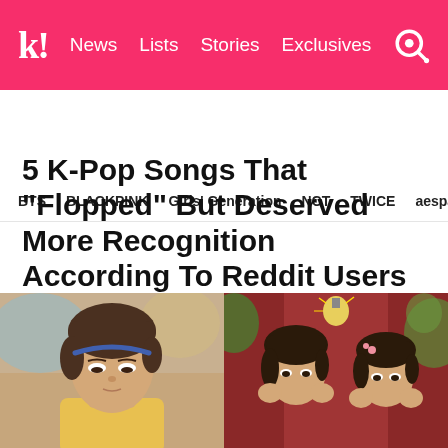k! News  Lists  Stories  Exclusives
BTS  BLACKPINK  Girls' Generation  NCT  TWICE  aespa
5 K-Pop Songs That “Flopped” But Deserved More Recognition According To Reddit Users
So many great songs were released in 2018…
[Figure (photo): Two-panel image: left panel shows a young man with brown hair in a yellow shirt looking down, with a colorful blurred background; right panel shows two young women with dark hair resting their faces on their hands, with a warm reddish/plant background and a glowing Edison bulb.]